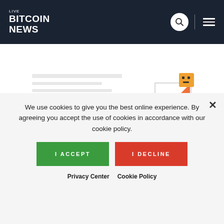LIVE BITCOIN NEWS
Upcoming Events
[Figure (illustration): Partial view of an empty events page with a cartoon character (orange square face) sitting on a triangular orange shape, suggesting no upcoming events found.]
We use cookies to give you the best online experience. By agreeing you accept the use of cookies in accordance with our cookie policy.
I ACCEPT
I DECLINE
Privacy Center  Cookie Policy